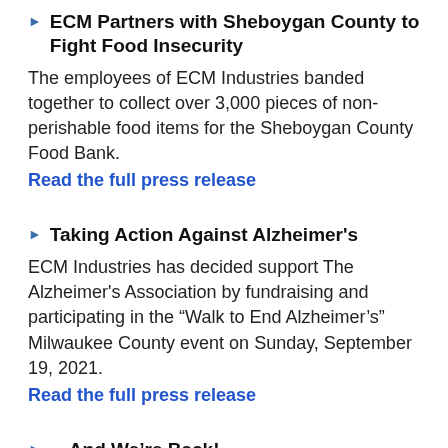ECM Partners with Sheboygan County to Fight Food Insecurity
The employees of ECM Industries banded together to collect over 3,000 pieces of non-perishable food items for the Sheboygan County Food Bank.
Read the full press release
Taking Action Against Alzheimer's
ECM Industries has decided support The Alzheimer's Association by fundraising and participating in the “Walk to End Alzheimer’s” Milwaukee County event on Sunday, September 19, 2021.
Read the full press release
…And We’re Back!
The country is opening again, and ECM Industries is excited to have been able to attend IEC in Denver, CO and NECA in Nashville, TN. While we love hosting webinars and zoom-calls nothing compares to the one-on-one, face to face,